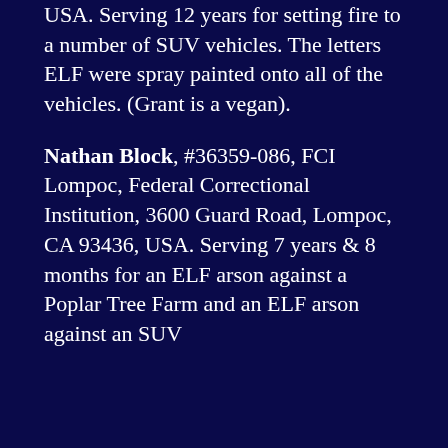USA. Serving 12 years for setting fire to a number of SUV vehicles. The letters ELF were spray painted onto all of the vehicles. (Grant is a vegan).
Nathan Block, #36359-086, FCI Lompoc, Federal Correctional Institution, 3600 Guard Road, Lompoc, CA 93436, USA. Serving 7 years & 8 months for an ELF arson against a Poplar Tree Farm and an ELF arson against an SUV